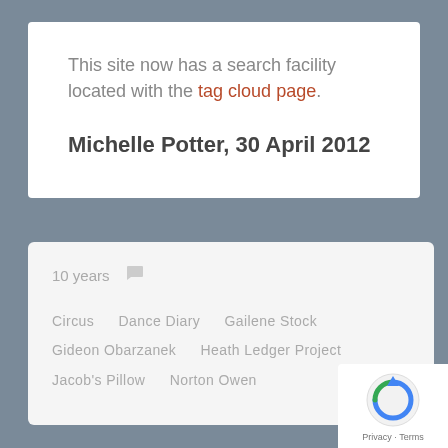This site now has a search facility located with the tag cloud page.
Michelle Potter, 30 April 2012
10 years
Circus
Dance Diary
Gailene Stock
Gideon Obarzanek
Heath Ledger Project
Jacob's Pillow
Norton Owen
[Figure (logo): reCAPTCHA logo with Privacy and Terms text]